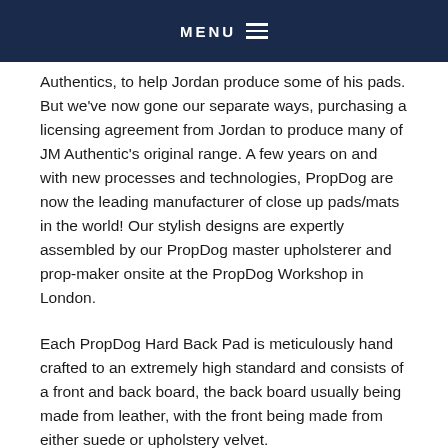MENU
Authentics, to help Jordan produce some of his pads. But we've now gone our separate ways, purchasing a licensing agreement from Jordan to produce many of JM Authentic's original range. A few years on and with new processes and technologies, PropDog are now the leading manufacturer of close up pads/mats in the world! Our stylish designs are expertly assembled by our PropDog master upholsterer and prop-maker onsite at the PropDog Workshop in London.
Each PropDog Hard Back Pad is meticulously hand crafted to an extremely high standard and consists of a front and back board, the back board usually being made from leather, with the front being made from either suede or upholstery velvet.
The leather backing we use is eco friendly recycled hard wearing leather origionally designed for the automotive